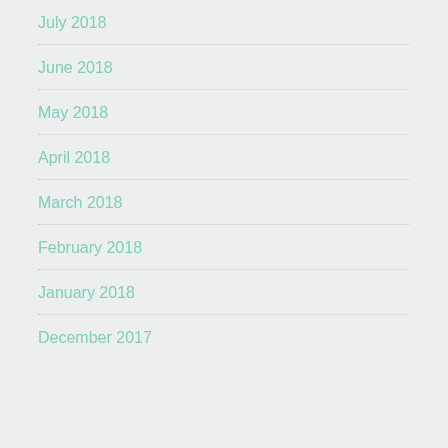July 2018
June 2018
May 2018
April 2018
March 2018
February 2018
January 2018
December 2017